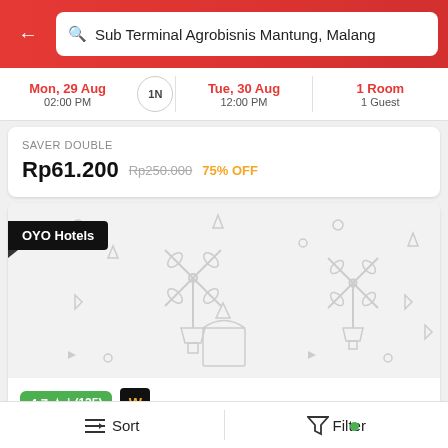Sub Terminal Agrobisnis Mantung, Malang
Mon, 29 Aug 02:00 PM | 1N | Tue, 30 Aug 12:00 PM | 1 Room 1 Guest
SAVER DOUBLE
Rp61.200 Rp250.000 75% OFF
[Figure (screenshot): OYO Hotels placeholder image with windmill icons on white/grey background]
4.7 ★ | (125) W
OYO 2317 Griya Meriosari Family Syariah 3.8 km
Sort | Filter